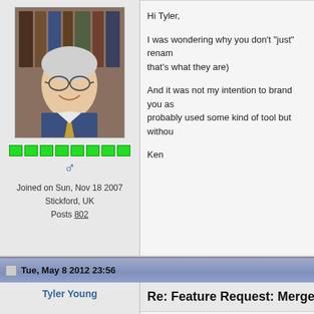[Figure (photo): Profile photo of an elderly man with glasses, smiling, wearing a suit and tie]
Joined on Sun, Nov 18 2007
Stickford, UK
Posts 802
Hi Tyler,

I was wondering why you don't "just" rename (that's what they are)

And it was not my intention to brand you as probably used some kind of tool but withou

Ken
Tue, May 8 2012 23:56
Tyler Young
[Figure (illustration): Pencil sketch illustration of a person's profile/side view]
Re: Feature Request: Merge en
Ken,

I knew you weren't aiming that at me. Just